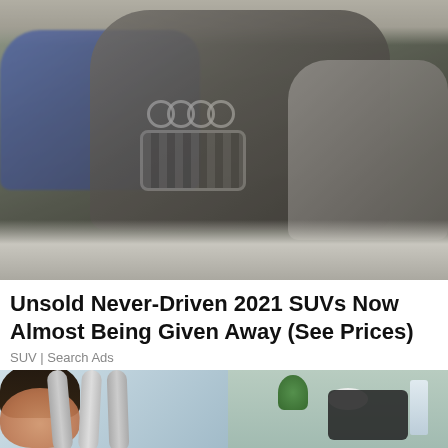[Figure (photo): Photo of several dusty, unsold luxury SUVs (including an Audi Q7 prominently in the center and a BMW on the left) parked in what appears to be a covered facility, covered in dust/ash.]
Unsold Never-Driven 2021 SUVs Now Almost Being Given Away (See Prices)
SUV | Search Ads
[Figure (photo): Partial photo of a person lying down (possibly receiving a beauty/medical treatment) with gray flexible hoses/tubes above them, and a shelf with plants, a bowl, and a bottle visible in the background.]